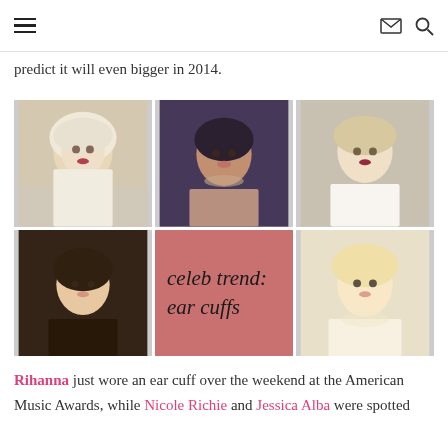≡  ✉ 🔍
predict it will even bigger in 2014.
[Figure (photo): Grid of 5 celebrity photos with ear cuffs and one central overlay reading 'celeb trend: ear cuffs' on a rose-red background. Photos show Rita Ora (top left), Rihanna (top center), Jennifer Lawrence (top right), unidentified woman (bottom left), and Ashlee Simpson or similar blonde celebrity (bottom right).]
Rihanna just wore an ear cuff over the weekend at the American Music Awards, while Nicole Richie and Jessica Alba were spotted